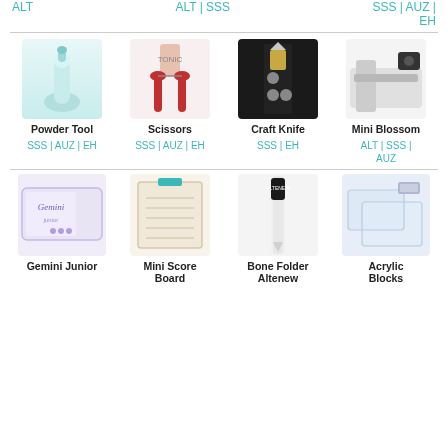ALT | SSS | AUZ | EH  (top links row)
[Figure (photo): Powder Tool product image]
Powder Tool
SSS | AUZ | EH
[Figure (photo): Scissors product image]
Scissors
SSS | AUZ | EH
[Figure (photo): Craft Knife product image]
Craft Knife
SSS | EH
[Figure (photo): Mini Blossom product image]
Mini Blossom
ALT | SSS | AUZ
[Figure (photo): Gemini Junior product image]
Gemini Junior
[Figure (photo): Mini Score Board product image]
Mini Score Board
[Figure (photo): Bone Folder Altenew product image]
Bone Folder Altenew
[Figure (photo): Acrylic Blocks product image]